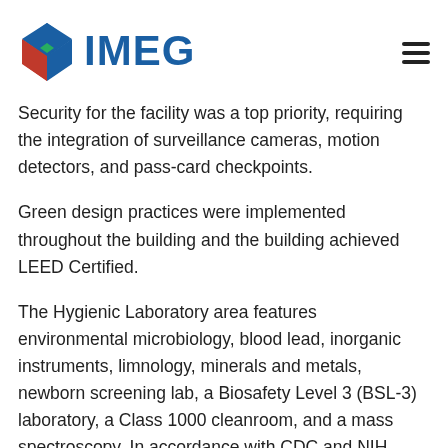[Figure (logo): IMEG company logo with diamond-shaped icon and blue IMEG text]
Security for the facility was a top priority, requiring the integration of surveillance cameras, motion detectors, and pass-card checkpoints.
Green design practices were implemented throughout the building and the building achieved LEED Certified.
The Hygienic Laboratory area features environmental microbiology, blood lead, inorganic instruments, limnology, minerals and metals, newborn screening lab, a Biosafety Level 3 (BSL-3) laboratory, a Class 1000 cleanroom, and a mass spectroscopy. In accordance with CDC and NIH guidelines, the BSL-3 ante and